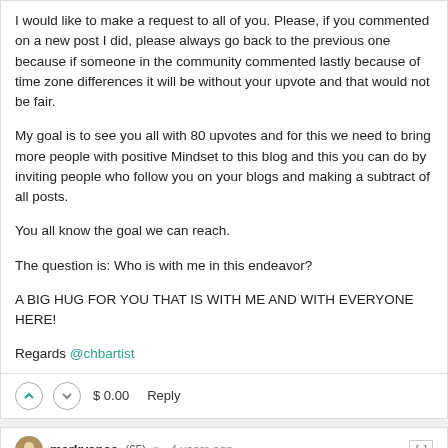I would like to make a request to all of you. Please, if you commented on a new post I did, please always go back to the previous one because if someone in the community commented lastly because of time zone differences it will be without your upvote and that would not be fair.
My goal is to see you all with 80 upvotes and for this we need to bring more people with positive Mindset to this blog and this you can do by inviting people who follow you on your blogs and making a subtract of all posts.
You all know the goal we can reach.
The question is: Who is with me in this endeavor?
A BIG HUG FOR YOU THAT IS WITH ME AND WITH EVERYONE HERE!
Regards @chbartist
$ 0.00   Reply
markvance (65) ▾   4 years ago
Gives me something to strive for and think about.
$ 0.05 ▾   3 votes ▾   Reply